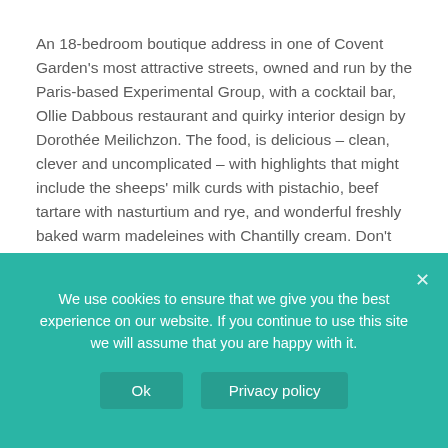An 18-bedroom boutique address in one of Covent Garden's most attractive streets, owned and run by the Paris-based Experimental Group, with a cocktail bar, Ollie Dabbous restaurant and quirky interior design by Dorothée Meilichzon. The food, is delicious – clean, clever and uncomplicated – with highlights that might include the sheeps' milk curds with pistachio, beef tartare with nasturtium and rye, and wonderful freshly baked warm madeleines with Chantilly cream. Don't miss a cocktail, which can be chosen à la carte or with a consultation from the barman.
We use cookies to ensure that we give you the best experience on our website. If you continue to use this site we will assume that you are happy with it.